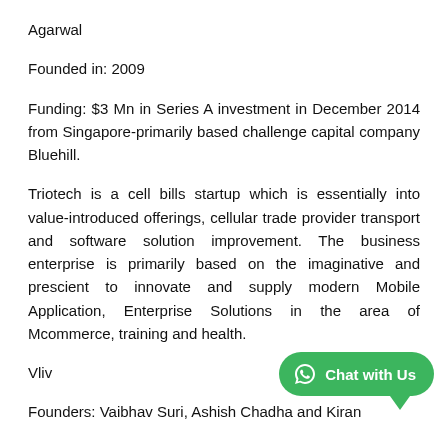Agarwal
Founded in: 2009
Funding: $3 Mn in Series A investment in December 2014 from Singapore-primarily based challenge capital company Bluehill.
Triotech is a cell bills startup which is essentially into value-introduced offerings, cellular trade provider transport and software solution improvement. The business enterprise is primarily based on the imaginative and prescient to innovate and supply modern Mobile Application, Enterprise Solutions in the area of Mcommerce, training and health.
Vliv
Founders: Vaibhav Suri, Ashish Chadha and Kiran